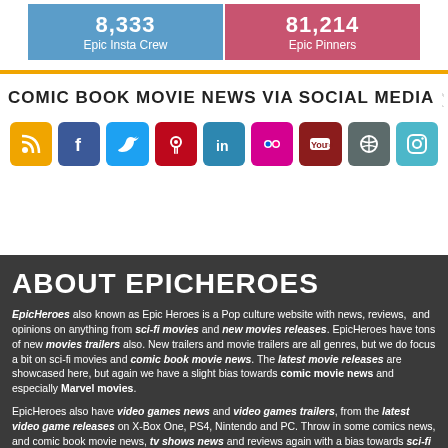[Figure (infographic): Two social media stat buttons: blue 'Epic Insta Crew' and pink/red 'Epic Pinners' with partially visible numbers]
COMIC BOOK MOVIE NEWS VIA SOCIAL MEDIA
[Figure (infographic): Row of 9 social media icon buttons: RSS (orange), Facebook (blue), Twitter (light blue), Pinterest (red), LinkedIn (teal), Flickr (magenta), YouTube (dark red), Dribbble (gray), Instagram (cyan)]
ABOUT EPICHEROES
EpicHeroes also known as Epic Heroes is a Pop culture website with news, reviews, and opinions on anything from sci-fi movies and new movies releases. EpicHeroes have tons of new movies trailers also. New trailers and movie trailers are all genres, but we do focus a bit on sci-fi movies and comic book movie news. The latest movie releases are showcased here, but again we have a slight bias towards comic movie news and especially Marvel movies.
EpicHeroes also have video games news and video games trailers, from the latest video game releases on X-Box One, PS4, Nintendo and PC. Throw in some comics news, and comic book movie news, tv shows news and reviews again with a bias towards sci-fi tv shows news.